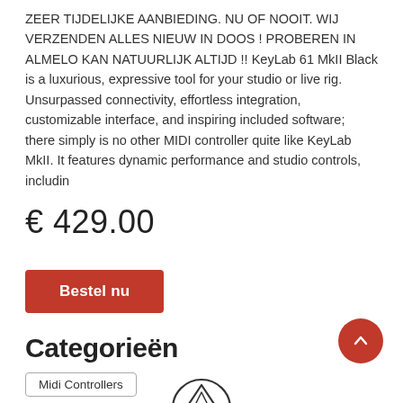ZEER TIJDELIJKE AANBIEDING. NU OF NOOIT. WIJ VERZENDEN ALLES NIEUW IN DOOS ! PROBEREN IN ALMELO KAN NATUURLIJK ALTIJD !! KeyLab 61 MkII Black is a luxurious, expressive tool for your studio or live rig. Unsurpassed connectivity, effortless integration, customizable interface, and inspiring included software; there simply is no other MIDI controller quite like KeyLab MkII. It features dynamic performance and studio controls, includin
€ 429.00
Bestel nu
Categorieën
Midi Controllers
[Figure (logo): Partial circular logo with mountain/peak icon, bottom of page]